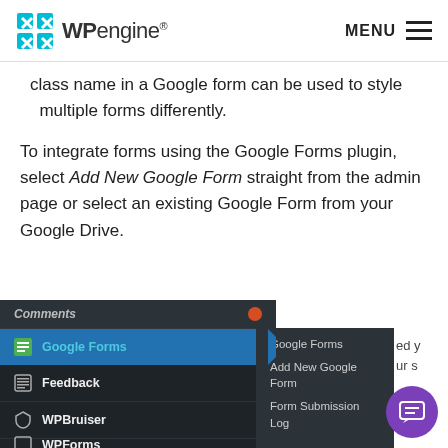WP engine — MENU
class name in a Google form can be used to style multiple forms differently.
To integrate forms using the Google Forms plugin, select Add New Google Form straight from the admin page or select an existing Google Form from your Google Drive.
[Figure (screenshot): WordPress admin sidebar screenshot showing Google Forms menu item selected, with a submenu expanded showing: Google Forms, Add New Google Form, Form Submission Log. Other menu items visible: Comments (with orange notification dot), Feedback, WPBruiser, WPForms (partial). A purple chat bubble button appears in the lower-right corner.]